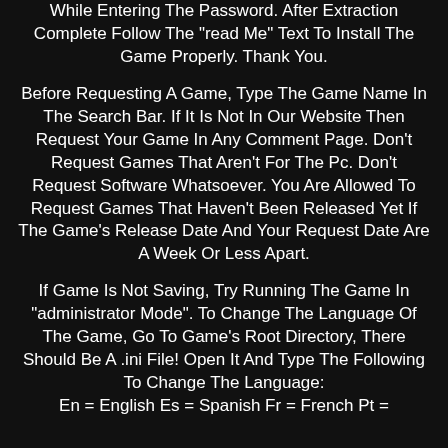While Entering The Password. After Extraction Complete Follow The "read Me" Text To Install The Game Properly. Thank You.
Before Requesting A Game, Type The Game Name In The Search Bar. If It Is Not In Our Website Then Request Your Game In Any Comment Page. Don't Request Games That Aren't For The Pc. Don't Request Software Whatsoever. You Are Allowed To Request Games That Haven't Been Released Yet If The Game's Release Date And Your Request Date Are A Week Or Less Apart.
If Game Is Not Saving, Try Running The Game In "administrator Mode". To Change The Language Of The Game, Go To Game's Root Directory, There Should Be A .ini File! Open It And Type The Following To Change The Language: En = English Es = Spanish Fr = French Pt =